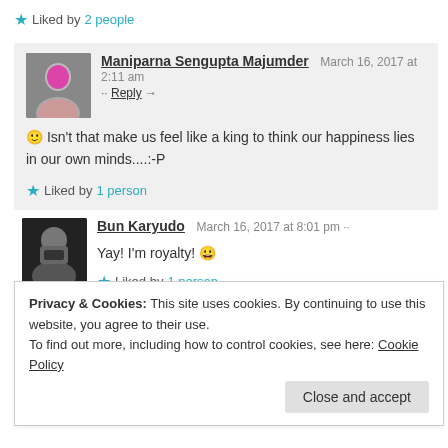Liked by 2 people
Maniparna Sengupta Majumder  March 16, 2017 at 2:11 am  Reply
😊 Isn't that make us feel like a king to think our happiness lies in our own minds....:-P
Liked by 1 person
Bun Karyudo  March 16, 2017 at 8:01 pm
Yay! I'm royalty! 😀
Liked by 1 person
Privacy & Cookies: This site uses cookies. By continuing to use this website, you agree to their use. To find out more, including how to control cookies, see here: Cookie Policy
Close and accept